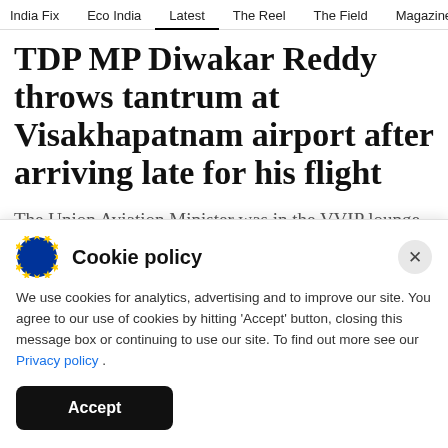India Fix   Eco India   Latest   The Reel   The Field   Magazine
TDP MP Diwakar Reddy throws tantrum at Visakhapatnam airport after arriving late for his flight
The Union Aviation Minister was in the VVIP lounge of the airport when the incident occurred, but he declined Reddy's request for
Cookie policy
We use cookies for analytics, advertising and to improve our site. You agree to our use of cookies by hitting 'Accept' button, closing this message box or continuing to use our site. To find out more see our Privacy policy .
Accept